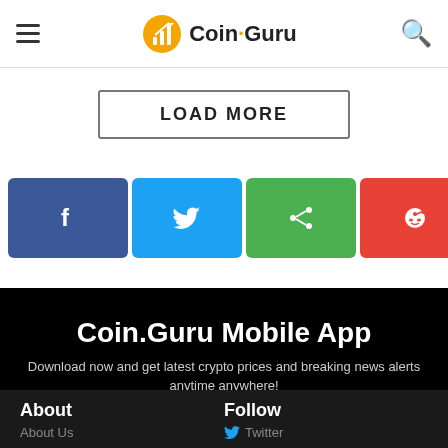Coin.Guru
LOAD MORE
[Figure (infographic): Social share buttons: Facebook, Twitter, Share, Reddit, Telegram, LinkedIn]
Coin.Guru Mobile App
Download now and get latest crypto prices and breaking news alerts anytime anywhere!
[Figure (infographic): Google Play and App Store download buttons]
About
Follow
About Us
Twitter